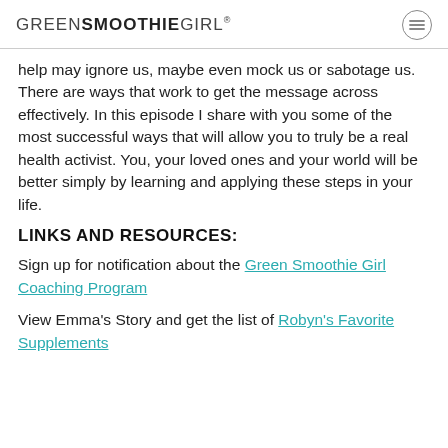GREENSMOOTHIEGIRL®
help may ignore us, maybe even mock us or sabotage us. There are ways that work to get the message across effectively. In this episode I share with you some of the most successful ways that will allow you to truly be a real health activist. You, your loved ones and your world will be better simply by learning and applying these steps in your life.
LINKS AND RESOURCES:
Sign up for notification about the Green Smoothie Girl Coaching Program
View Emma's Story and get the list of Robyn's Favorite Supplements